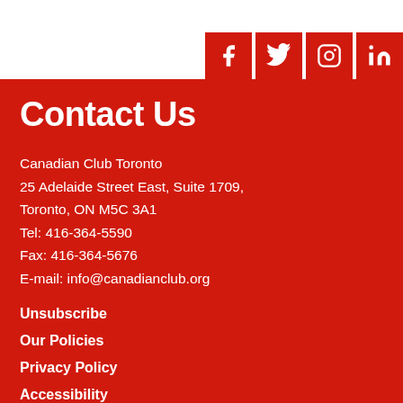[Figure (logo): Social media icons for Facebook, Twitter, Instagram, and LinkedIn displayed as white icons on red square backgrounds in the top-right corner]
Contact Us
Canadian Club Toronto
25 Adelaide Street East, Suite 1709,
Toronto, ON M5C 3A1
Tel: 416-364-5590
Fax: 416-364-5676
E-mail: info@canadianclub.org
Unsubscribe
Our Policies
Privacy Policy
Accessibility